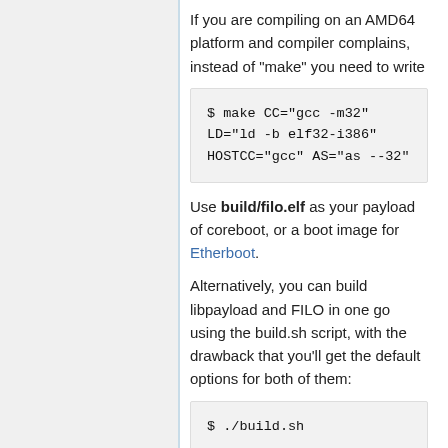If you are compiling on an AMD64 platform and compiler complains, instead of "make" you need to write
$ make CC="gcc -m32" LD="ld -b elf32-i386" HOSTCC="gcc" AS="as --32"
Use build/filo.elf as your payload of coreboot, or a boot image for Etherboot.
Alternatively, you can build libpayload and FILO in one go using the build.sh script, with the drawback that you'll get the default options for both of them:
$ ./build.sh
Here is the short listing how to build FILO from git